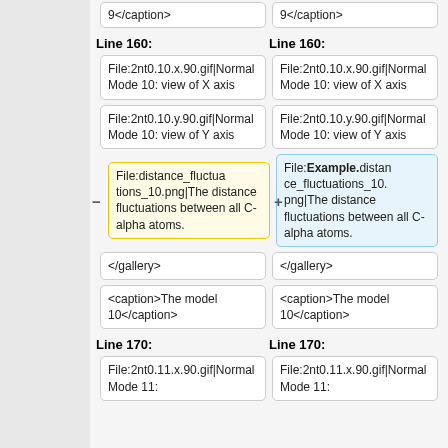9</caption>
9</caption>
Line 160:
Line 160:
File:2nt0.10.x.90.gif|Normal Mode 10: view of X axis
File:2nt0.10.x.90.gif|Normal Mode 10: view of X axis
File:2nt0.10.y.90.gif|Normal Mode 10: view of Y axis
File:2nt0.10.y.90.gif|Normal Mode 10: view of Y axis
File:distance_fluctuations_10.png|The distance fluctuations between all C-alpha atoms.
File:Example.distance_fluctuations_10.png|The distance fluctuations between all C-alpha atoms.
</gallery>
</gallery>
<caption>The model 10</caption>
<caption>The model 10</caption>
Line 170:
Line 170:
File:2nt0.11.x.90.gif|Normal Mode 11:
File:2nt0.11.x.90.gif|Normal Mode 11: